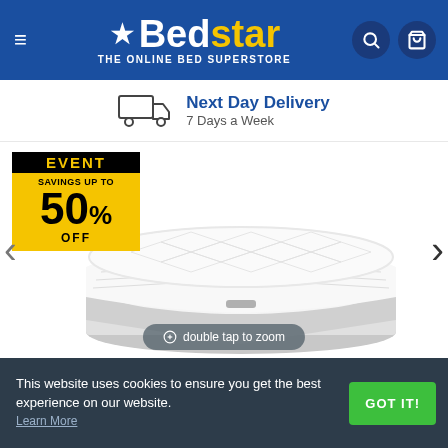Bedstar THE ONLINE BED SUPERSTORE
Next Day Delivery 7 Days a Week
[Figure (photo): White quilted mattress product photo with sale badge showing 50% OFF EVENT and navigation arrows on left and right]
double tap to zoom
This website uses cookies to ensure you get the best experience on our website. Learn More GOT IT!